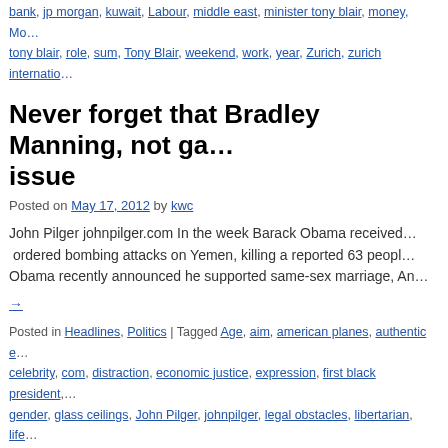bank, jp morgan, kuwait, Labour, middle east, minister tony blair, money, Mo... tony blair, role, sum, Tony Blair, weekend, work, year, Zurich, zurich internatio...
Never forget that Bradley Manning, not ga... issue
Posted on May 17, 2012 by kwc
John Pilger johnpilger.com In the week Barack Obama received... ordered bombing attacks on Yemen, killing a reported 63 peopl... Obama recently announced he supported same-sex marriage, An...
→
Posted in Headlines, Politics | Tagged Age, aim, american planes, authentic e... celebrity, com, distraction, economic justice, expression, first black president,... gender, glass ceilings, John Pilger, johnpilger, legal obstacles, libertarian, life... peace prize, nobel prize, Obama, Peace, President, private matter, property,... struggle, Tony Blair, Vote, war criminal | Comments Off
'I'm ready for a comeback': Blair's made